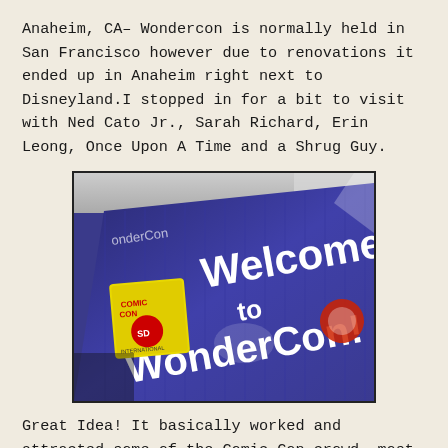Anaheim, CA– Wondercon is normally held in San Francisco however due to renovations it ended up in Anaheim right next to Disneyland.I stopped in for a bit to visit with Ned Cato Jr., Sarah Richard, Erin Leong, Once Upon A Time and a Shrug Guy.
[Figure (photo): Photo of a WonderCon welcome banner — a large purple/blue banner reading 'Welcome to WonderCon!' with the Comic-Con International logo visible, photographed at an angle from below.]
Great Idea! It basically worked and attracted some of the Comic Con crowd, most likely a lot of people that don't make it to Comic Con. The show